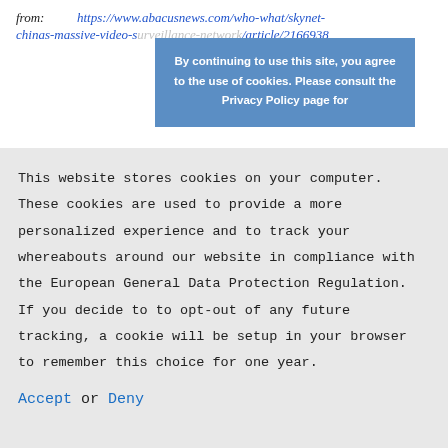from: https://www.abacusnews.com/who-what/skynet-chinas-massive-video-surveillance-network/article/2166938
[Figure (screenshot): Cookie consent overlay popup with blue background reading: By continuing to use this site, you agree to the use of cookies. Please consult the Privacy Policy page for]
This website stores cookies on your computer. These cookies are used to provide a more personalized experience and to track your whereabouts around our website in compliance with the European General Data Protection Regulation. If you decide to to opt-out of any future tracking, a cookie will be setup in your browser to remember this choice for one year.
Accept or Deny